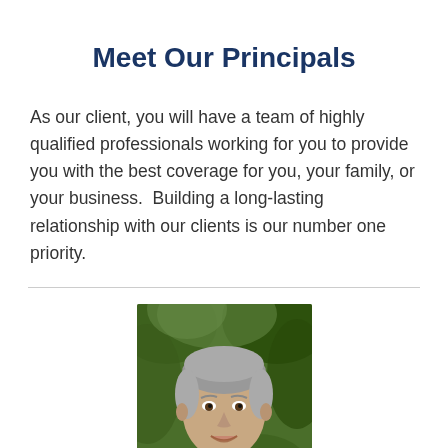Meet Our Principals
As our client, you will have a team of highly qualified professionals working for you to provide you with the best coverage for you, your family, or your business.  Building a long-lasting relationship with our clients is our number one priority.
[Figure (photo): Headshot photo of a man with grey hair, smiling, with green foliage in the background]